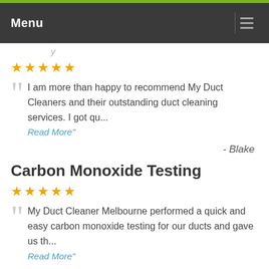Menu
(partially visible heading text)
★★★★★
I am more than happy to recommend My Duct Cleaners and their outstanding duct cleaning services. I got qu... Read More"
- Blake
Carbon Monoxide Testing
★★★★★
My Duct Cleaner Melbourne performed a quick and easy carbon monoxide testing for our ducts and gave us th... Read More"
- Zoran
Duct Cleaning Experts of Melbourne